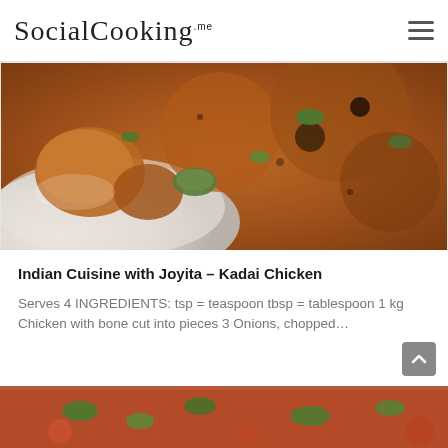SocialCooking.me
[Figure (photo): Close-up photo of Kadai Chicken dish in a white bowl, showing pieces of chicken with spices, green peppers, and garnished with coriander leaves]
Indian Cuisine with Joyita – Kadai Chicken
Serves 4 INGREDIENTS: tsp = teaspoon tbsp = tablespoon 1 kg Chicken with bone cut into pieces 3 Onions, chopped…
[Figure (photo): Partial view of another food dish, showing red and green elements, likely another Indian cuisine recipe]